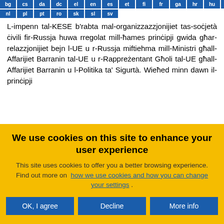bg cs da dc el en es et fi fr ga hr hu it lt lv nl pl pt ro sk sl sv
L-impenn tal-KESE b'rabta mal-organizzazzjonijiet tas-soċjetà ċivili fir-Russja huwa rregolat mill-ħames prinċipji gwida għar-relazzjonijiet bejn l-UE u r-Russja miftiehma mill-Ministri għall-Affarijiet Barranin tal-UE u r-Rappreżentant Għoli tal-UE għall-Affarijiet Barranin u l-Politika ta' Sigurtà. Wieħed minn dawn il-prinċipji
We use cookies on this site to enhance your user experience
This site uses cookies to offer you a better browsing experience. Find out more on how we use cookies and how you can change your settings .
OK, I agree
Decline
More info